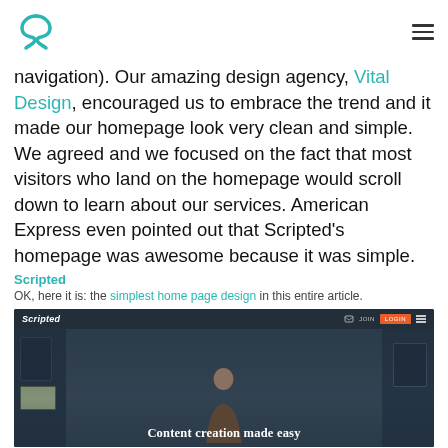Scripted logo and navigation menu
navigation). Our amazing design agency, Vital Design, encouraged us to embrace the trend and it made our homepage look very clean and simple. We agreed and we focused on the fact that most visitors who land on the homepage would scroll down to learn about our services. American Express even pointed out that Scripted's homepage was awesome because it was simple.
Scripted
OK, here it is: the simplest home page design in this entire article.
[Figure (screenshot): Screenshot of Scripted website homepage showing dark navigation bar with logo, join and login buttons, and a hero image with text 'Content creation made easy']